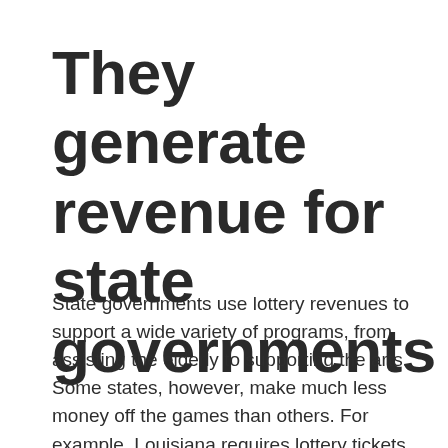They generate revenue for state governments
State governments use lottery revenues to support a wide variety of programs, from assisting the elderly to supporting the arts. Some states, however, make much less money off the games than others. For example, Louisiana requires lottery tickets to include a toll-free hotline number, and at least four states have made special provisions for problem gamblers. While not